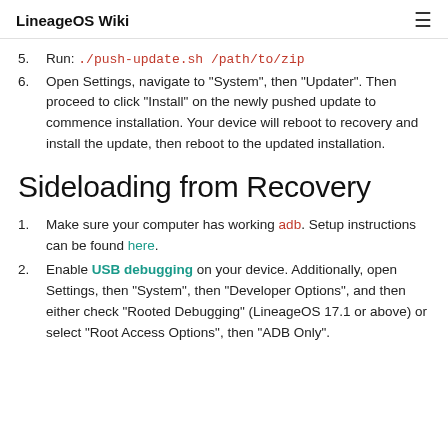LineageOS Wiki
5. Run: ./push-update.sh /path/to/zip
6. Open Settings, navigate to "System", then "Updater". Then proceed to click "Install" on the newly pushed update to commence installation. Your device will reboot to recovery and install the update, then reboot to the updated installation.
Sideloading from Recovery
1. Make sure your computer has working adb. Setup instructions can be found here.
2. Enable USB debugging on your device. Additionally, open Settings, then "System", then "Developer Options", and then either check "Rooted Debugging" (LineageOS 17.1 or above) or select "Root Access Options", then "ADB Only".